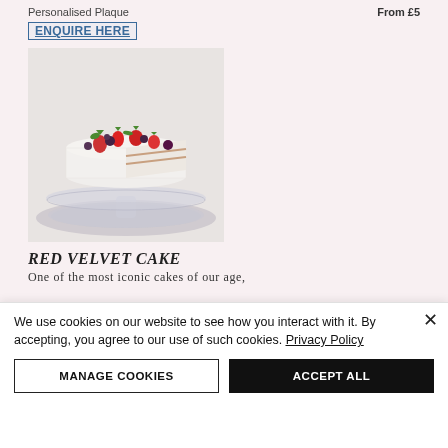Personalised Plaque    From £5
ENQUIRE HERE
[Figure (photo): A white-frosted layered cake on a glass cake stand, topped with fresh strawberries and mixed berries, with a slice cut away showing the layers inside.]
RED VELVET CAKE
One of the most iconic cakes of our age,
We use cookies on our website to see how you interact with it. By accepting, you agree to our use of such cookies. Privacy Policy
MANAGE COOKIES
ACCEPT ALL